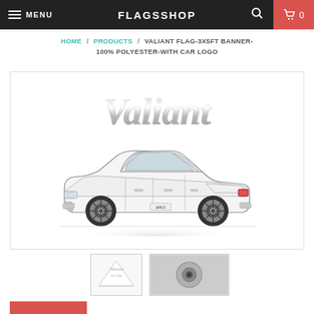MENU  FLAGSSHOP  0
HOME / PRODUCTS / VALIANT FLAG-3X5FT BANNER-100% POLYESTER-WITH CAR LOGO
[Figure (illustration): Valiant car illustration on a white flag background showing a classic white Valiant sedan with chrome script logo above it]
[Figure (photo): Thumbnail 1: small image of folded Valiant flag]
[Figure (photo): Thumbnail 2: close-up of grommet/eyelet on flag]